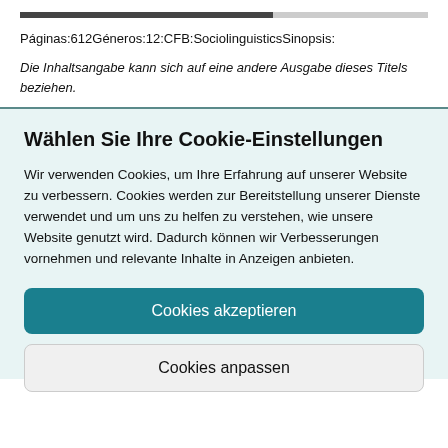Páginas:612Géneros:12:CFB:SociolinguisticsSinopsis:
Die Inhaltsangabe kann sich auf eine andere Ausgabe dieses Titels beziehen.
Wählen Sie Ihre Cookie-Einstellungen
Wir verwenden Cookies, um Ihre Erfahrung auf unserer Website zu verbessern. Cookies werden zur Bereitstellung unserer Dienste verwendet und um uns zu helfen zu verstehen, wie unsere Website genutzt wird. Dadurch können wir Verbesserungen vornehmen und relevante Inhalte in Anzeigen anbieten.
Cookies akzeptieren
Cookies anpassen